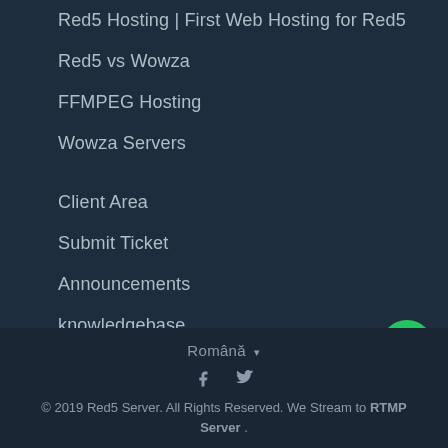Red5 Hosting | First Web Hosting for Red5
Red5 vs Wowza
FFMPEG Hosting
Wowza Servers
Client Area
Submit Ticket
Announcements
knowledgebase
Română ▾
© 2019 Red5 Server. All Rights Reserved. We Stream to RTMP Server .